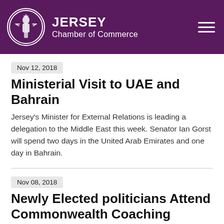[Figure (logo): Jersey Chamber of Commerce logo with circular emblem and text]
Nov 12, 2018
Ministerial Visit to UAE and Bahrain
Jersey's Minister for External Relations is leading a delegation to the Middle East this week. Senator Ian Gorst will spend two days in the United Arab Emirates and one day in Bahrain.
Nov 08, 2018
Newly Elected politicians Attend Commonwealth Coaching
Following Jersey's General Election in May, the Commonwealth Parliamentary Association (CPA) is today